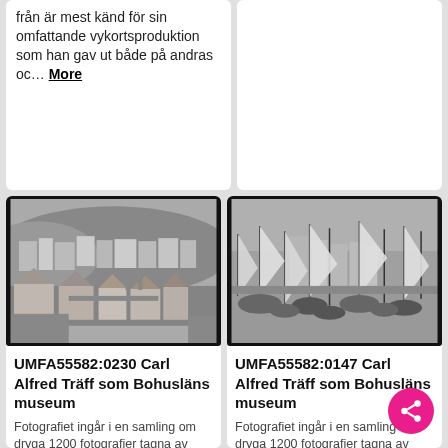från är mest känd för sin omfattande vykortsproduktion som han gav ut både på andras oc… More
[Figure (photo): Black and white historical photograph of a coastal Swedish town with buildings and waterfront, viewed from across water.]
[Figure (photo): Black and white historical photograph of a harbor with sailing boats and masts, buildings visible in the background.]
UMFA55582:0230 Carl Alfred Träff som Bohusläns museum
Fotografiet ingår i en samling om dryga 1200 fotografier tagna av Carl Alfred Träff som Bohusläns museum förvärvade 2016. Träff är mest känd för sin
UMFA55582:0147 Carl Alfred Träff som Bohusläns museum
Fotografiet ingår i en samling om dryga 1200 fotografier tagna av Carl Alfred Träff som Bohusläns museum förvärvade 2016. Träff är mest känd för sin